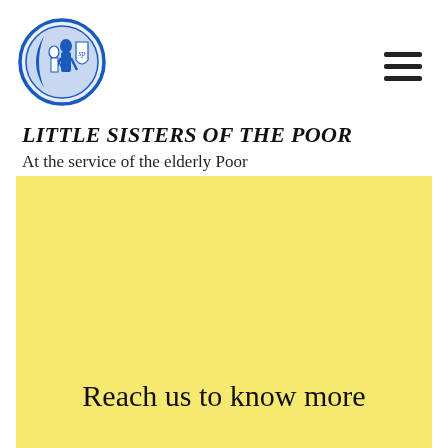[Figure (logo): Little Sisters of the Poor circular logo with blue and white illustration of a figure]
LITTLE SISTERS OF THE POOR
At the service of the elderly Poor
[Figure (illustration): Large yellow/cream colored banner image area]
Reach us to know more